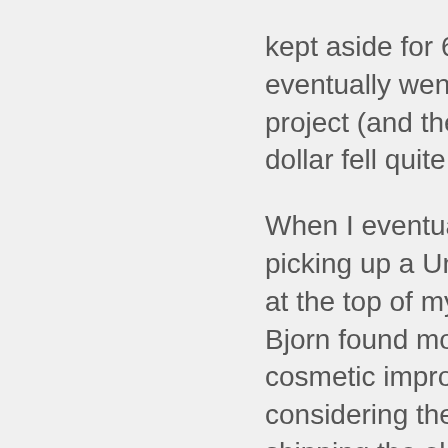kept aside for 6 months eventually went to another project (and the Candadian dollar fell quite a bit.

When I eventually get around picking up a Univibe this is still at the top of my list. I'm glad Bjorn found more than just cosmetic improvements considering the stopped shipping the old one while this one was in final development